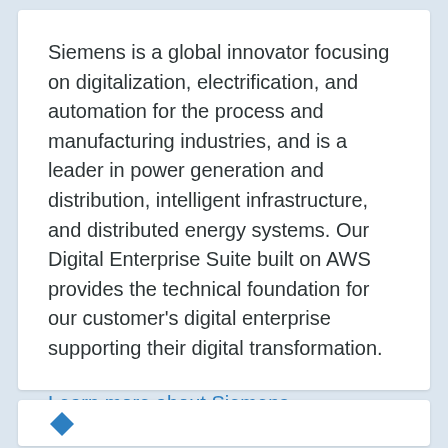Siemens is a global innovator focusing on digitalization, electrification, and automation for the process and manufacturing industries, and is a leader in power generation and distribution, intelligent infrastructure, and distributed energy systems. Our Digital Enterprise Suite built on AWS provides the technical foundation for our customer's digital enterprise supporting their digital transformation.
Learn more about Siemens »
[Figure (other): Partial view of a blue diamond/logo icon at the bottom of the page]